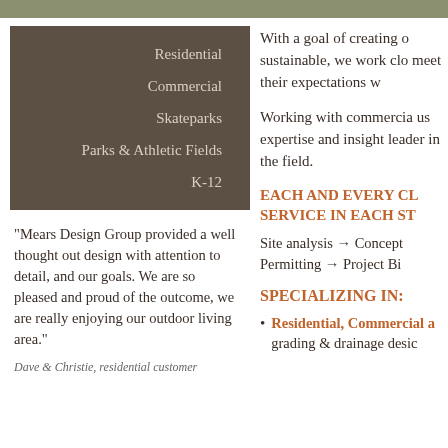Residential
Commercial
Skateparks
Parks & Athletic Fields
K-12
"Mears Design Group provided a well thought out design with attention to detail, and our goals. We are so pleased and proud of the outcome, we are really enjoying our outdoor living area."
Dave & Christie, residential customer
With a goal of creating o sustainable, we work clo meet their expectations w
Working with commercia us expertise and insight leader in the field.
EACH AND EVERY CL SERVICE IN EACH ST
Site analysis → Concept Permitting → Project Bi
SPECIALIZING IN:
Residential, Commercial a grading & drainage desic